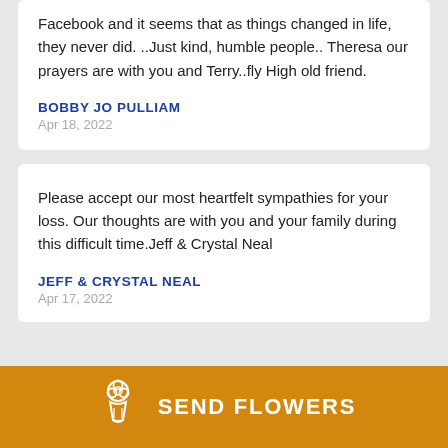Facebook and it seems that as things changed in life, they never did. ..Just kind, humble people.. Theresa our prayers are with you and Terry..fly High old friend.
BOBBY JO PULLIAM
Apr 18, 2022
Please accept our most heartfelt sympathies for your loss. Our thoughts are with you and your family during this difficult time.Jeff & Crystal Neal
JEFF & CRYSTAL NEAL
Apr 17, 2022
SEND FLOWERS